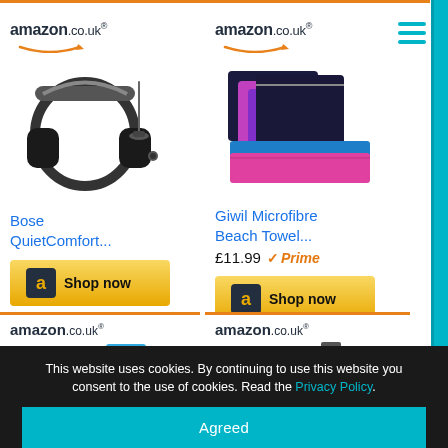[Figure (screenshot): Amazon.co.uk product listing page showing four product cards in a 2x2 grid. Top left: Bose QuietComfort headphones with Shop now button. Top right: Giwil Microfibre Beach Towel at £11.99 with Prime badge and Shop now button. Bottom left and right: additional Amazon.co.uk product cards with travel accessories (packing cubes, luggage). Cookie consent banner at the bottom.]
This website uses cookies. By continuing to use this website you consent to the use of cookies. Read the Privacy Policy.
Agreed